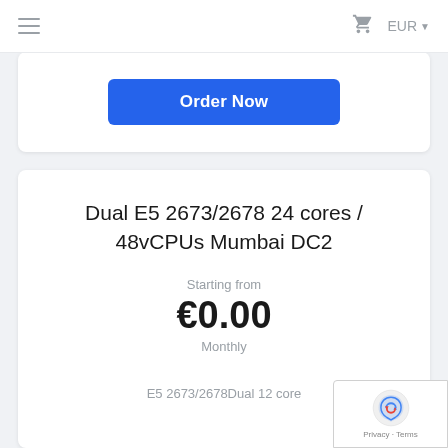≡  EUR ▾
Order Now
Dual E5 2673/2678 24 cores / 48vCPUs Mumbai DC2
Starting from
€0.00
Monthly
E5 2673/2678Dual 12 core